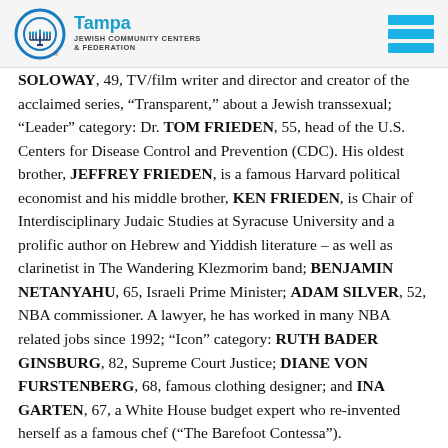Tampa Jewish Community Centers & Federation
SOLOWAY, 49, TV/film writer and director and creator of the acclaimed series, “Transparent,” about a Jewish transsexual; “Leader” category: Dr. TOM FRIEDEN, 55, head of the U.S. Centers for Disease Control and Prevention (CDC). His oldest brother, JEFFREY FRIEDEN, is a famous Harvard political economist and his middle brother, KEN FRIEDEN, is Chair of Interdisciplinary Judaic Studies at Syracuse University and a prolific author on Hebrew and Yiddish literature – as well as clarinetist in The Wandering Klezmorim band; BENJAMIN NETANYAHU, 65, Israeli Prime Minister; ADAM SILVER, 52, NBA commissioner. A lawyer, he has worked in many NBA related jobs since 1992; “Icon” category: RUTH BADER GINSBURG, 82, Supreme Court Justice; DIANE VON FURSTENBERG, 68, famous clothing designer; and INA GARTEN, 67, a White House budget expert who re-invented herself as a famous chef (“The Barefoot Contessa”).